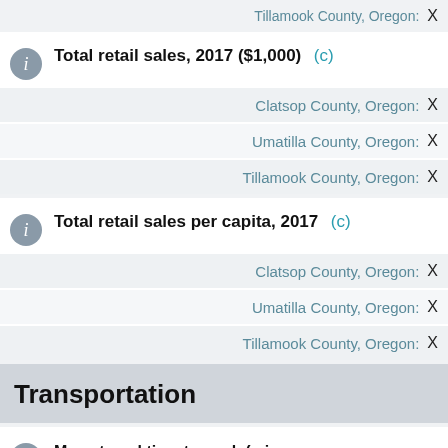Tillamook County, Oregon: X
Total retail sales, 2017 ($1,000)  (c)
Clatsop County, Oregon: X
Umatilla County, Oregon: X
Tillamook County, Oregon: X
Total retail sales per capita, 2017  (c)
Clatsop County, Oregon: X
Umatilla County, Oregon: X
Tillamook County, Oregon: X
Transportation
Mean travel time to work (min., workers 16 years+, 2016-2020
Clatsop
Is this page helpful?  Yes  No